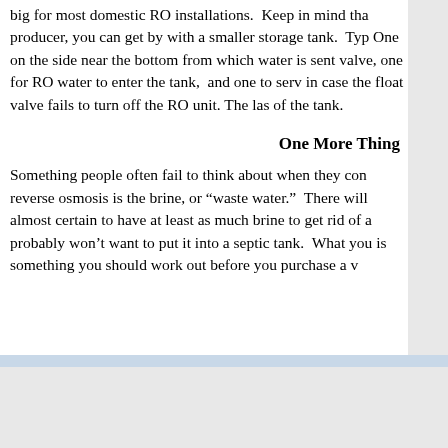big for most domestic RO installations. Keep in mind tha producer, you can get by with a smaller storage tank. Typ One on the side near the bottom from which water is sent valve, one for RO water to enter the tank, and one to serv in case the float valve fails to turn off the RO unit. The las of the tank.
One More Thing
Something people often fail to think about when they con reverse osmosis is the brine, or “waste water.” There will almost certain to have at least as much brine to get rid of a probably won’t want to put it into a septic tank. What you is something you should work out before you purchase a v